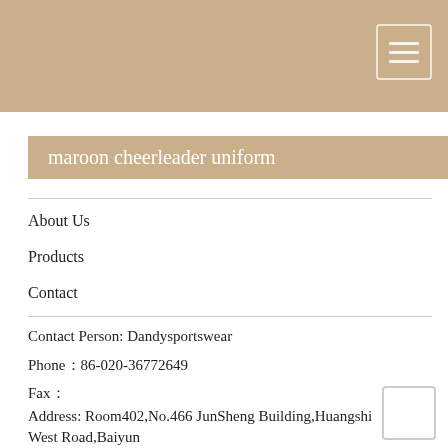[Figure (other): Tan/beige header navigation bar with hamburger menu icon (three horizontal lines) in top-right corner]
maroon cheerleader uniform
About Us
Products
Contact
Contact Person: Dandysportswear
Phone：86-020-36772649
Fax：
Address: Room402,No.466 JunSheng Building,Huangshi West Road,Baiyun Zone,Guangzhou,China.510430,Guangzhou,Guangdong